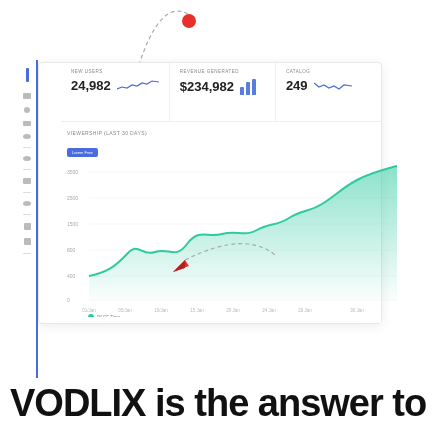[Figure (screenshot): Dashboard UI screenshot showing metrics: NEW USERS 24,982 with sparkline, REVENUE GENERATED $234,982 with bar chart, CATALOG 249 with sparkline, and a VIEWERSHIP (LAST 30 DAYS) area chart showing an upward trend with green fill. A red dot with dashed arc arrow at top and a red cursor arrow with dashed line at bottom decorate the screenshot.]
VODLIX is the answer to all your